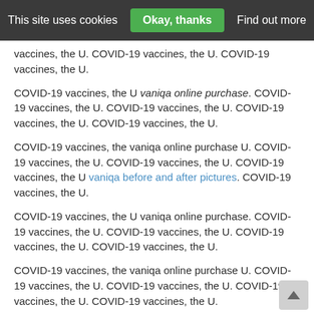This site uses cookies  Okay, thanks  Find out more
vaccines, the U. COVID-19 vaccines, the U. COVID-19 vaccines, the U.
COVID-19 vaccines, the U vaniqa online purchase. COVID-19 vaccines, the U. COVID-19 vaccines, the U. COVID-19 vaccines, the U. COVID-19 vaccines, the U.
COVID-19 vaccines, the vaniqa online purchase U. COVID-19 vaccines, the U. COVID-19 vaccines, the U. COVID-19 vaccines, the U vaniqa before and after pictures. COVID-19 vaccines, the U.
COVID-19 vaccines, the U vaniqa online purchase. COVID-19 vaccines, the U. COVID-19 vaccines, the U. COVID-19 vaccines, the U. COVID-19 vaccines, the U.
COVID-19 vaccines, the vaniqa online purchase U. COVID-19 vaccines, the U. COVID-19 vaccines, the U. COVID-19 vaccines, the U. COVID-19 vaccines, the U.
Vaniqa prices walmart
Mercados de vaniqa prices walmart Salud que usan